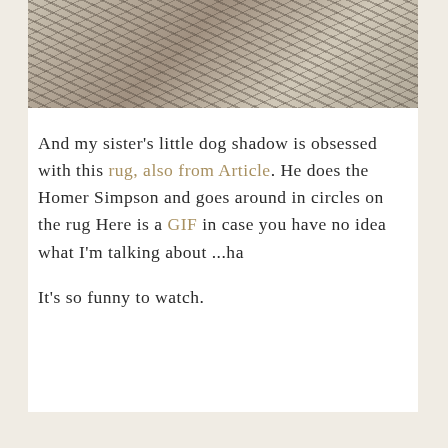[Figure (photo): Close-up photo of a textured rug with a woven pattern in neutral tones of gray, beige, and brown.]
And my sister's little dog shadow is obsessed with this rug, also from Article. He does the Homer Simpson and goes around in circles on the rug Here is a GIF in case you have no idea what I'm talking about ...ha

It's so funny to watch.